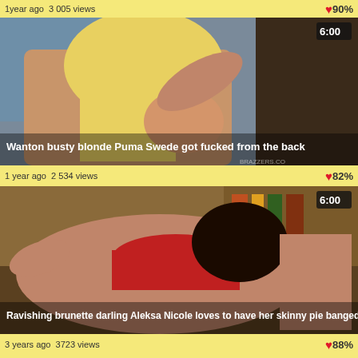1 year ago  3005 views    90%
[Figure (photo): Thumbnail of Wanton busty blonde Puma Swede got fucked from the back, duration 6:00, with BRAZZERS.CO watermark]
1 year ago  2 534 views    82%
[Figure (photo): Thumbnail of Ravishing brunette darling Aleksa Nicole loves to have her skinny pie banged from beh..., duration 6:00]
3 years ago  3723 views    88%